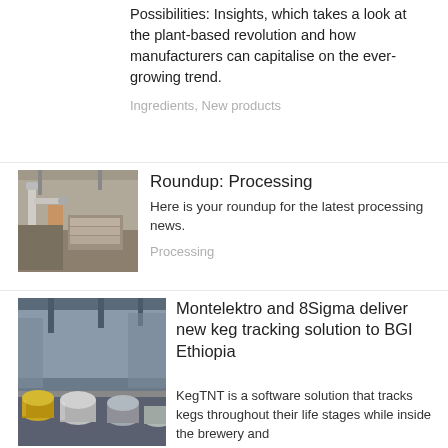Possibilities: Insights, which takes a look at the plant-based revolution and how manufacturers can capitalise on the ever-growing trend.
Ingredients, New products
[Figure (photo): Industrial factory scene with robotic arm and stacked goods on pallets]
Roundup: Processing
Here is your roundup for the latest processing news.
Processing
[Figure (photo): Brewery facility with kegs on a conveyor line]
Montelektro and 8Sigma deliver new keg tracking solution to BGI Ethiopia
KegTNT is a software solution that tracks kegs throughout their life stages while inside the brewery and